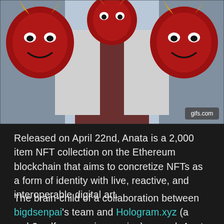[Figure (illustration): Anime-style character wearing Japanese oni (demon) masks on either side, red masks with horns, character in the center wearing white and dark outfit. gifs.com watermark in bottom right corner.]
Released on April 22nd, Anata is a 2,000 item NFT collection on the Ethereum blockchain that aims to concretize NFTs as a form of identity with live, reactive, and interoperable digital art.
The brain-child of a collaboration between bigdsenpai's team and Hologram.xyz (a web3 self-expression engine) — each Anata NFT can synchronize with webcam, phone camera, and microphone, so that Anata holders can appear embodied as their avatar on any video medium (whether that be Zoom, Twitch, TikTok, Facetime, etc.)